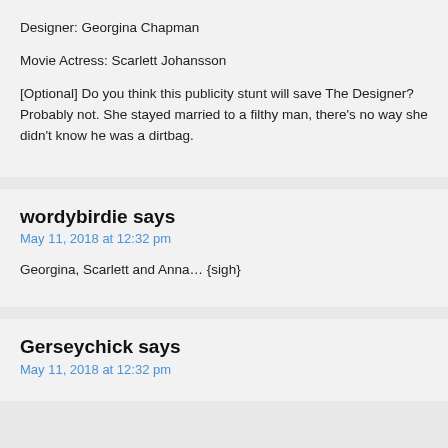Designer: Georgina Chapman
Movie Actress: Scarlett Johansson
[Optional] Do you think this publicity stunt will save The Designer? Probably not. She stayed married to a filthy man, there's no way she didn't know he was a dirtbag.
wordybirdie says
May 11, 2018 at 12:32 pm
Georgina, Scarlett and Anna… {sigh}
Gerseychick says
May 11, 2018 at 12:32 pm